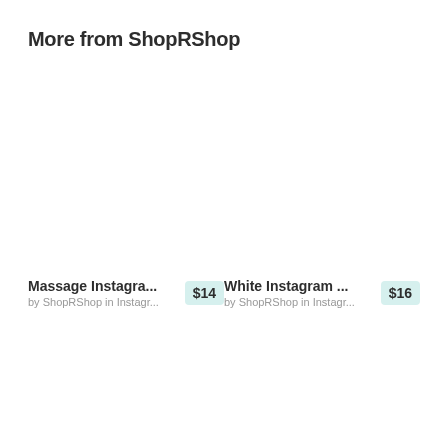More from ShopRShop
Massage Instagra... $14 by ShopRShop in Instagr...
White Instagram ... $16 by ShopRShop in Instagr...